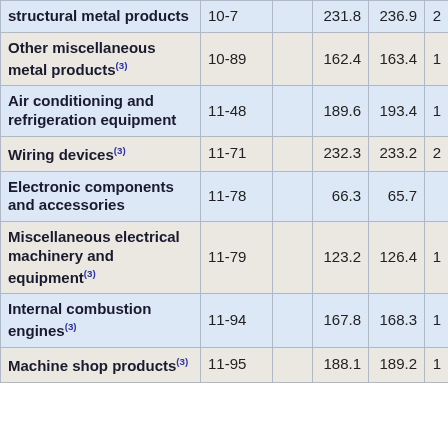| Product | Code |  |  | Col1 | Col2 | Col3(partial) |
| --- | --- | --- | --- | --- | --- | --- |
| structural metal products | 10-7 |  |  | 231.8 | 236.9 | 2… |
| Other miscellaneous metal products(3) | 10-89 |  |  | 162.4 | 163.4 | 1… |
| Air conditioning and refrigeration equipment | 11-48 |  |  | 189.6 | 193.4 | 1… |
| Wiring devices(3) | 11-71 |  |  | 232.3 | 233.2 | 2… |
| Electronic components and accessories | 11-78 |  |  | 66.3 | 65.7 |  |
| Miscellaneous electrical machinery and equipment(3) | 11-79 |  |  | 123.2 | 126.4 | 1… |
| Internal combustion engines(3) | 11-94 |  |  | 167.8 | 168.3 | 1… |
| Machine shop products(3) | 11-95 |  |  | 188.1 | 189.2 | 1… |